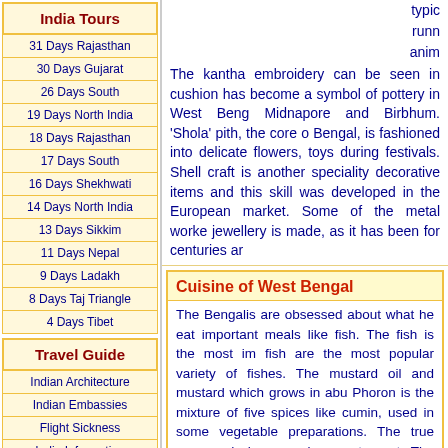India Tours
31 Days Rajasthan
30 Days Gujarat
26 Days South
19 Days North India
18 Days Rajasthan
17 Days South
16 Days Shekhwati
14 Days North India
13 Days Sikkim
11 Days Nepal
9 Days Ladakh
8 Days Taj Triangle
4 Days Tibet
Travel Guide
Indian Architecture
Indian Embassies
Flight Sickness
India Information
typically running anim The kantha embroidery can be seen in cushion has become a symbol of pottery in West Beng Midnapore and Birbhum. 'Shola' pith, the core o Bengal, is fashioned into delicate flowers, toys during festivals. Shell craft is another speciality decorative items and this skill was developed in the European market. Some of the metal worke jewellery is made, as it has been for centuries ar
Cuisine of West Bengal
The Bengalis are obsessed about what he eat important meals like fish. The fish is the most im fish are the most popular variety of fishes. The mustard oil and mustard which grows in abu Phoron is the mixture of five spices like cumin, used in some vegetable preparations. The true someone's home or in a restaurant. The swee day's meal. Most of the sweetmeats are milk ba Lady Kenny. One of the famous sweetmeat is th yoghurt eaten as a dessert and typically sold in c
Festivals of West Bengal
The Durga Puja is the main festival which is c